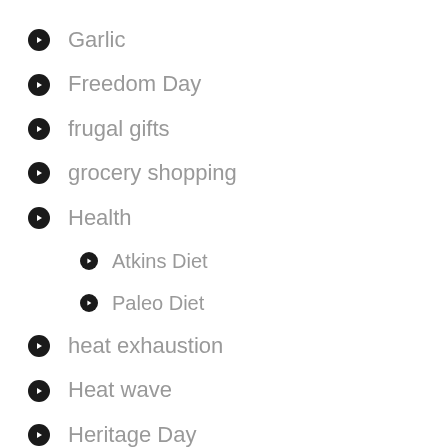Garlic
Freedom Day
frugal gifts
grocery shopping
Health
Atkins Diet
Paleo Diet
heat exhaustion
Heat wave
Heritage Day
household management
Clutter